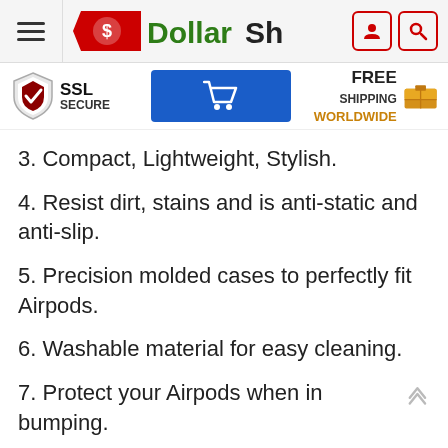DollarShop header with hamburger menu, logo, user icon, and search icon
[Figure (infographic): Trust bar with SSL Secure shield badge, blue cart button, and Free Shipping Worldwide box icon]
3. Compact, Lightweight, Stylish.
4. Resist dirt, stains and is anti-static and anti-slip.
5. Precision molded cases to perfectly fit Airpods.
6. Washable material for easy cleaning.
7. Protect your Airpods when in bumping.
N...